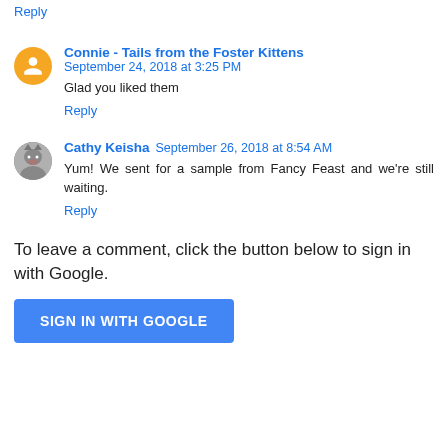Reply
Connie - Tails from the Foster Kittens  September 24, 2018 at 3:25 PM
Glad you liked them
Reply
Cathy Keisha  September 26, 2018 at 8:54 AM
Yum! We sent for a sample from Fancy Feast and we're still waiting.
Reply
To leave a comment, click the button below to sign in with Google.
SIGN IN WITH GOOGLE